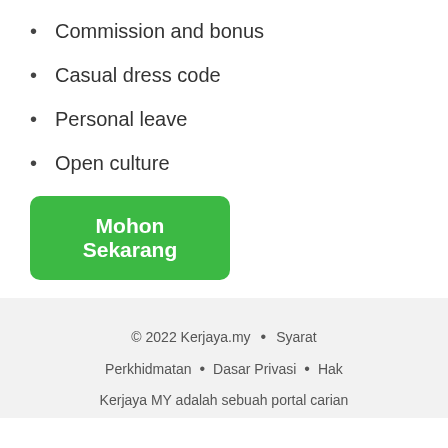Commission and bonus
Casual dress code
Personal leave
Open culture
Mohon Sekarang
© 2022 Kerjaya.my • Syarat Perkhidmatan • Dasar Privasi • Hak Kerjaya MY adalah sebuah portal carian